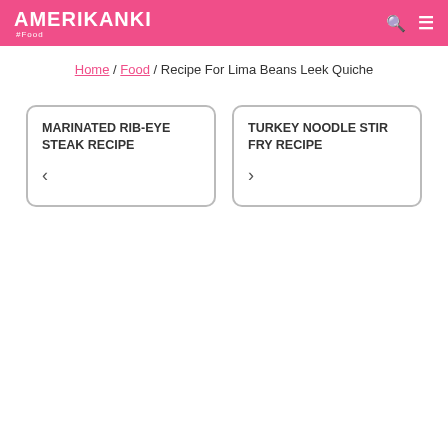AMERIKANKI #Food
Home / Food / Recipe For Lima Beans Leek Quiche
MARINATED RIB-EYE STEAK RECIPE <
TURKEY NOODLE STIR FRY RECIPE >